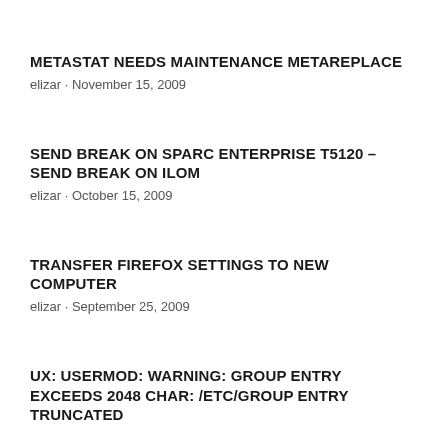METASTAT NEEDS MAINTENANCE METAREPLACE
elizar · November 15, 2009
SEND BREAK ON SPARC ENTERPRISE T5120 – SEND BREAK ON ILOM
elizar · October 15, 2009
TRANSFER FIREFOX SETTINGS TO NEW COMPUTER
elizar · September 25, 2009
UX: USERMOD: WARNING: GROUP ENTRY EXCEEDS 2048 CHAR: /ETC/GROUP ENTRY TRUNCATED